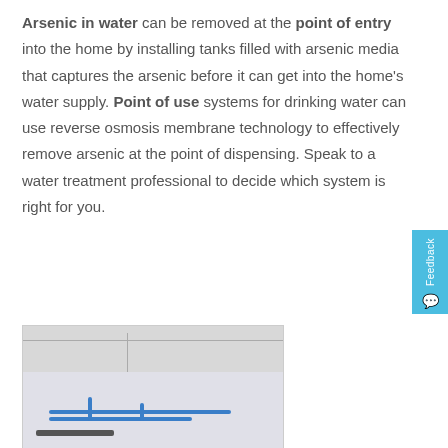Arsenic in water can be removed at the point of entry into the home by installing tanks filled with arsenic media that captures the arsenic before it can get into the home's water supply. Point of use systems for drinking water can use reverse osmosis membrane technology to effectively remove arsenic at the point of dispensing. Speak to a water treatment professional to decide which system is right for you.
[Figure (photo): Interior photo showing ceiling tiles and blue pipes/plumbing equipment mounted on a wall, likely a water treatment installation.]